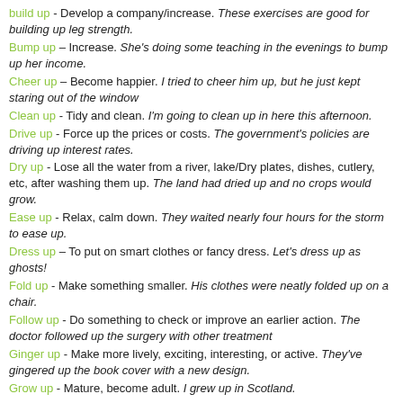build up - Develop a company/increase. These exercises are good for building up leg strength.
Bump up – Increase. She's doing some teaching in the evenings to bump up her income.
Cheer up – Become happier. I tried to cheer him up, but he just kept staring out of the window
Clean up - Tidy and clean. I'm going to clean up in here this afternoon.
Drive up - Force up the prices or costs. The government's policies are driving up interest rates.
Dry up - Lose all the water from a river, lake/Dry plates, dishes, cutlery, etc, after washing them up. The land had dried up and no crops would grow.
Ease up - Relax, calm down. They waited nearly four hours for the storm to ease up.
Dress up – To put on smart clothes or fancy dress. Let's dress up as ghosts!
Fold up - Make something smaller. His clothes were neatly folded up on a chair.
Follow up - Do something to check or improve an earlier action. The doctor followed up the surgery with other treatment
Ginger up - Make more lively, exciting, interesting, or active. They've gingered up the book cover with a new design.
Grow up - Mature, become adult. I grew up in Scotland.